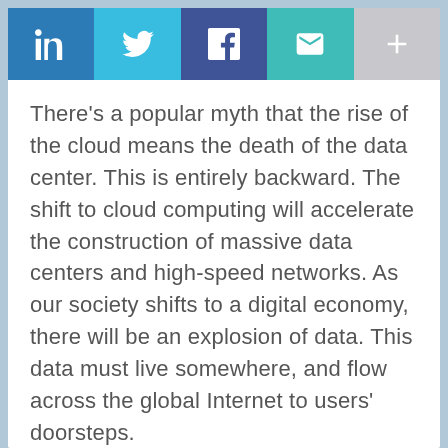[Figure (other): Social sharing bar with LinkedIn, Twitter, Facebook, Email, and More (+) buttons]
There's a popular myth that the rise of the cloud means the death of the data center. This is entirely backward. The shift to cloud computing will accelerate the construction of massive data centers and high-speed networks. As our society shifts to a digital economy, there will be an explosion of data. This data must live somewhere, and flow across the global Internet to users' doorsteps.
In the real world, there is no "cloud." It all